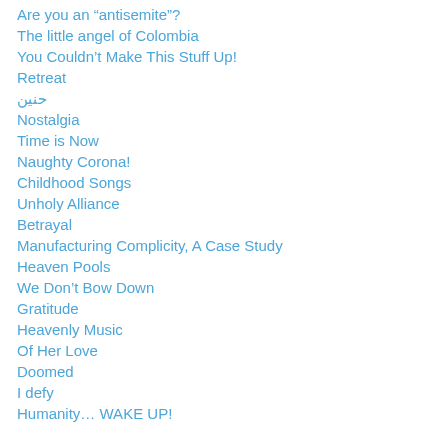Are you an “antisemite”?
The little angel of Colombia
You Couldn’t Make This Stuff Up!
Retreat
حنين
Nostalgia
Time is Now
Naughty Corona!
Childhood Songs
Unholy Alliance
Betrayal
Manufacturing Complicity, A Case Study
Heaven Pools
We Don’t Bow Down
Gratitude
Heavenly Music
Of Her Love
Doomed
I defy
Humanity… WAKE UP!